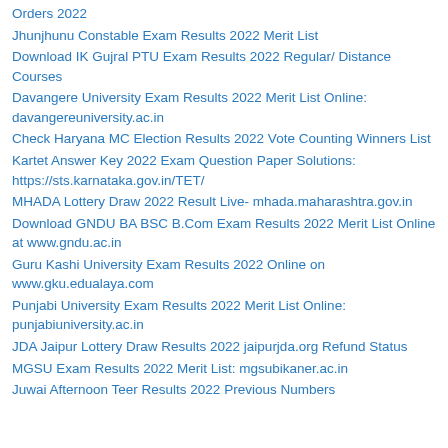Orders 2022
Jhunjhunu Constable Exam Results 2022 Merit List
Download IK Gujral PTU Exam Results 2022 Regular/ Distance Courses
Davangere University Exam Results 2022 Merit List Online: davangereuniversity.ac.in
Check Haryana MC Election Results 2022 Vote Counting Winners List
Kartet Answer Key 2022 Exam Question Paper Solutions: https://sts.karnataka.gov.in/TET/
MHADA Lottery Draw 2022 Result Live- mhada.maharashtra.gov.in
Download GNDU BA BSC B.Com Exam Results 2022 Merit List Online at www.gndu.ac.in
Guru Kashi University Exam Results 2022 Online on www.gku.edualaya.com
Punjabi University Exam Results 2022 Merit List Online: punjabiuniversity.ac.in
JDA Jaipur Lottery Draw Results 2022 jaipurjda.org Refund Status
MGSU Exam Results 2022 Merit List: mgsubikaner.ac.in
Juwai Afternoon Teer Results 2022 Previous Numbers